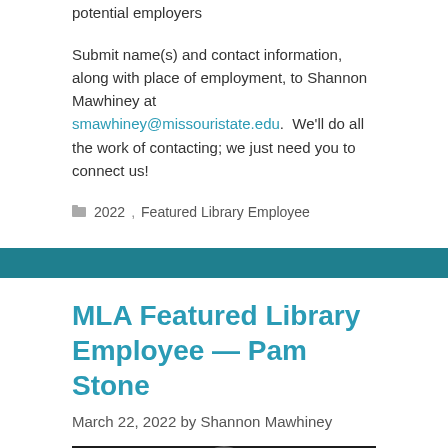potential employers
Submit name(s) and contact information, along with place of employment, to Shannon Mawhiney at smawhiney@missouristate.edu.  We'll do all the work of contacting; we just need you to connect us!
2022, Featured Library Employee
MLA Featured Library Employee — Pam Stone
March 22, 2022 by Shannon Mawhiney
[Figure (photo): Partial view of a person's photo, showing top of head against dark background]